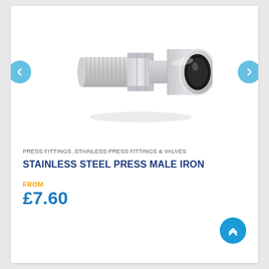[Figure (photo): Stainless steel press male iron fitting — a chrome/silver threaded male adapter with press-fit socket end, viewed from a slight angle]
PRESS FITTINGS ,STAINLESS PRESS FITTINGS & VALVES
STAINLESS STEEL PRESS MALE IRON
FROM
£7.60